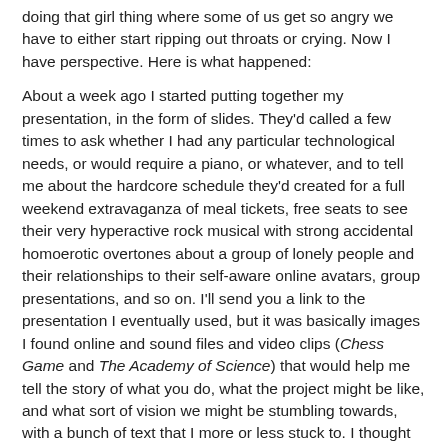doing that girl thing where some of us get so angry we have to either start ripping out throats or crying. Now I have perspective. Here is what happened:
About a week ago I started putting together my presentation, in the form of slides. They'd called a few times to ask whether I had any particular technological needs, or would require a piano, or whatever, and to tell me about the hardcore schedule they'd created for a full weekend extravaganza of meal tickets, free seats to see their very hyperactive rock musical with strong accidental homoerotic overtones about a group of lonely people and their relationships to their self-aware online avatars, group presentations, and so on. I'll send you a link to the presentation I eventually used, but it was basically images I found online and sound files and video clips (Chess Game and The Academy of Science) that would help me tell the story of what you do, what the project might be like, and what sort of vision we might be stumbling towards, with a bunch of text that I more or less stuck to. I thought about how to lead them through the thought process, how we interpreted New Deal and so on.